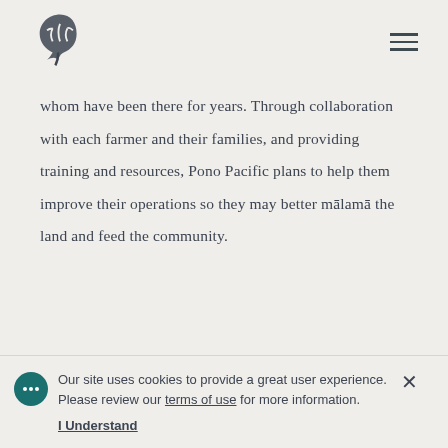[Logo: monstera leaf icon] [Hamburger menu icon]
whom have been there for years. Through collaboration with each farmer and their families, and providing training and resources, Pono Pacific plans to help them improve their operations so they may better mālama the land and feed the community.
Our site uses cookies to provide a great user experience. Please review our terms of use for more information. I Understand